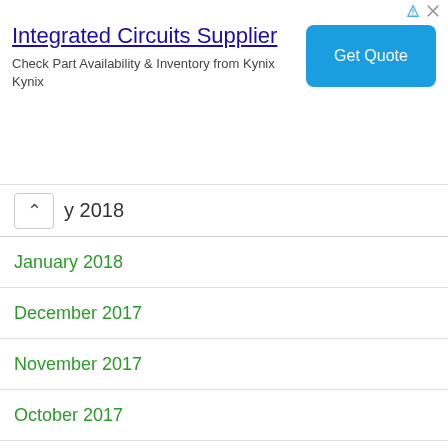[Figure (other): Advertisement banner for Integrated Circuits Supplier - Kynix. Title: 'Integrated Circuits Supplier', description: 'Check Part Availability & Inventory from Kynix Kynix', with a blue 'Get Quote' button.]
y 2018
January 2018
December 2017
November 2017
October 2017
September 2017
August 2017
July 2017
June 2017
May 2017